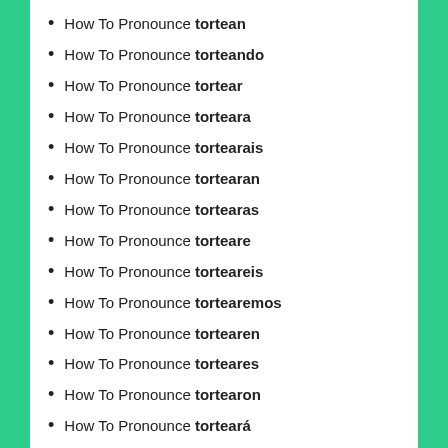How To Pronounce tortean
How To Pronounce torteando
How To Pronounce tortear
How To Pronounce torteara
How To Pronounce tortearais
How To Pronounce tortearan
How To Pronounce tortearas
How To Pronounce torteare
How To Pronounce torteareis
How To Pronounce tortearemos
How To Pronounce tortearen
How To Pronounce torteares
How To Pronounce tortearon
How To Pronounce torteará
How To Pronounce tortearán
How To Pronounce tortearás
How To Pronounce tortearé
How To Pronounce tortearéis
How To Pronounce tortearía
How To Pronounce tortearíais
How To Pronounce tortearíamos
How To Pronounce tortearían
How To Pronounce tortearías